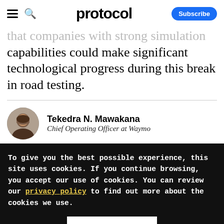protocol
that companies with strong simulation capabilities could make significant technological progress during this break in road testing.
Tekedra N. Mawakana
Chief Operating Officer at Waymo
To give you the best possible experience, this site uses cookies. If you continue browsing, you accept our use of cookies. You can review our privacy policy to find out more about the cookies we use.
Accept